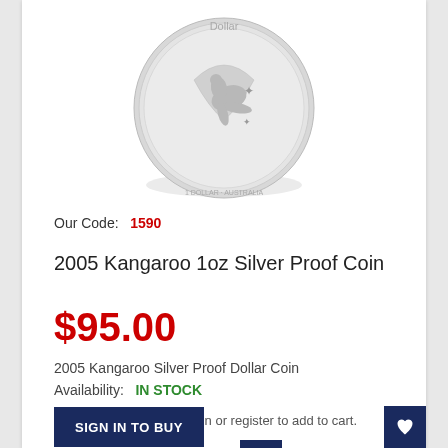[Figure (photo): Silver kangaroo proof coin, circular, shown from above with kangaroo design and stars visible]
Our Code:  1590
2005 Kangaroo 1oz Silver Proof Coin
$95.00
2005 Kangaroo Silver Proof Dollar Coin
Availability:  IN STOCK
Login or register to add to cart.
SIGN IN TO BUY